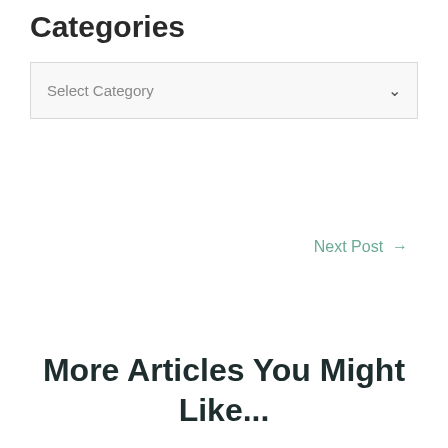Categories
Select Category
Next Post →
More Articles You Might Like...